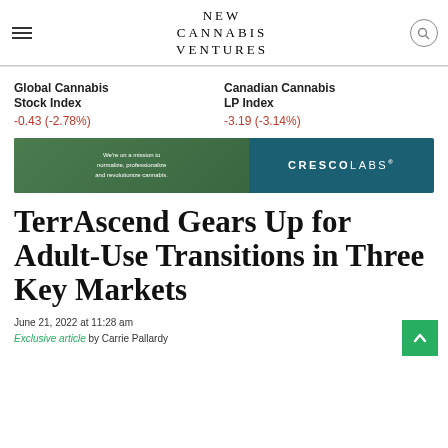NEW CANNABIS VENTURES
Global Cannabis Stock Index -0.43 (-2.78%)
Canadian Cannabis LP Index -3.19 (-3.14%)
[Figure (illustration): Cresco Labs advertisement banner: left side shows hands in blue gloves handling cannabis plants with text 'We're on a mission to normalize, professionalize and revolutionize cannabis.' Right side is teal background with CRESCO LABS logo.]
TerrAscend Gears Up for Adult-Use Transitions in Three Key Markets
June 21, 2022 at 11:28 am
Exclusive article by Carrie Pallardy